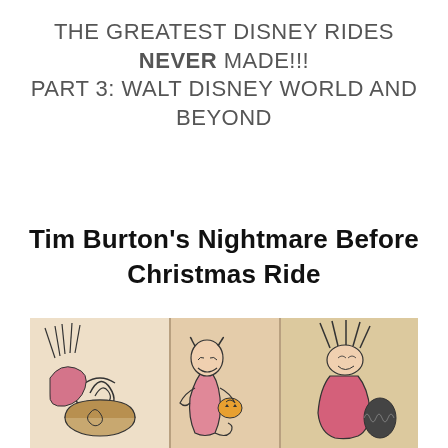THE GREATEST DISNEY RIDES NEVER MADE!!! PART 3: WALT DISNEY WORLD AND BEYOND
Tim Burton's Nightmare Before Christmas Ride
[Figure (illustration): Concept art illustration showing Nightmare Before Christmas characters in a ride scene: stylized line drawings with pink/red and brown wash tones depicting characters including a devil-like figure and Halloween Town denizens with a Jack-o-lantern bucket.]